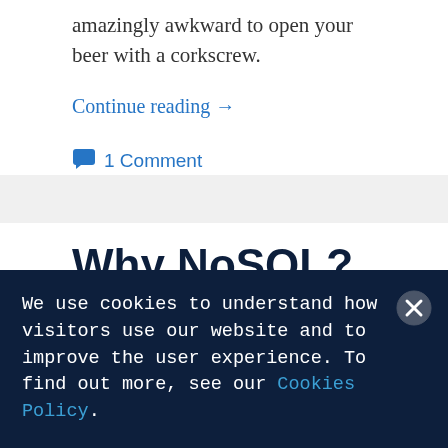amazingly awkward to open your beer with a corkscrew.
Continue reading →
1 Comment
Why NoSQL?
We use cookies to understand how visitors use our website and to improve the user experience. To find out more, see our Cookies Policy.